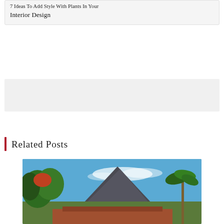7 Ideas To Add Style With Plants In Your Interior Design
[Figure (other): Gray placeholder/advertisement banner block]
Related Posts
[Figure (photo): Outdoor landscape photo showing tropical trees, palm trees, a mountain peak against a blue sky with white clouds, and a rooftop visible at the bottom]